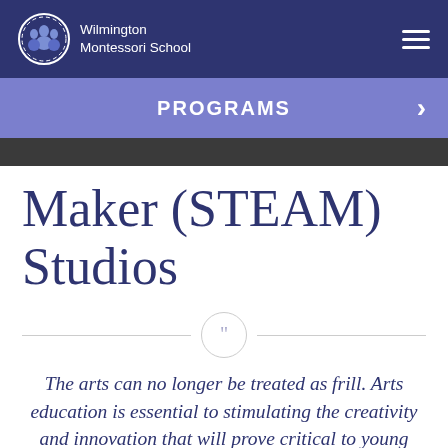Wilmington Montessori School
PROGRAMS
Maker (STEAM) Studios
The arts can no longer be treated as frill. Arts education is essential to stimulating the creativity and innovation that will prove critical to young Americans